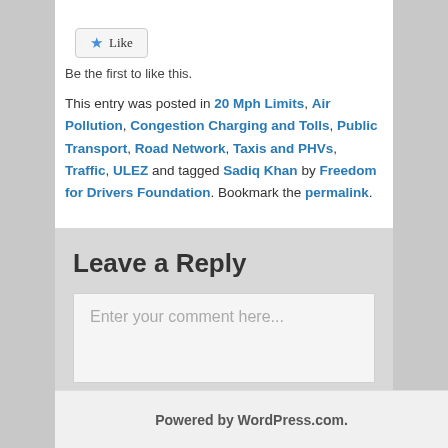[Figure (other): Like button with star icon]
Be the first to like this.
This entry was posted in 20 Mph Limits, Air Pollution, Congestion Charging and Tolls, Public Transport, Road Network, Taxis and PHVs, Traffic, ULEZ and tagged Sadiq Khan by Freedom for Drivers Foundation. Bookmark the permalink.
Leave a Reply
Enter your comment here...
Powered by WordPress.com.